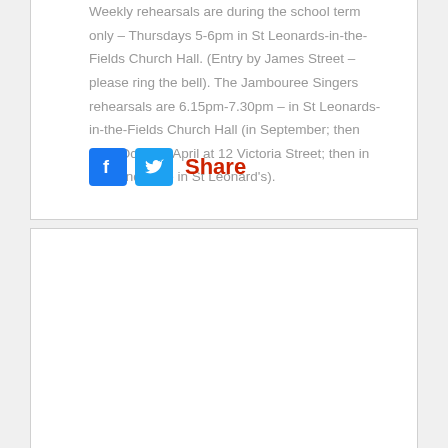Weekly rehearsals are during the school term only – Thursdays 5-6pm in St Leonards-in-the-Fields Church Hall. (Entry by James Street – please ring the bell). The Jambouree Singers rehearsals are 6.15pm-7.30pm – in St Leonards-in-the-Fields Church Hall (in September; then from October-April at 12 Victoria Street; then in May and June in St Leonard's).
[Figure (infographic): Facebook and Twitter share icons with red 'Share' text]
A Sentimental Journey